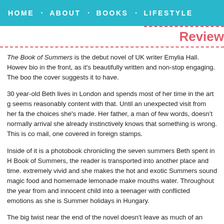HOME · ABOUT · BOOKS · LIFESTYLE
Review
The Book of Summers is the debut novel of UK writer Emylia Hall. However, bio in the front, as it's beautifully written and non-stop engaging. The book the cover suggests it to have.
30 year-old Beth lives in London and spends most of her time in the art g seems reasonably content with that. Until an unexpected visit from her fa the choices she's made. Her father, a man of few words, doesn't normally arrival she already instinctively knows that something is wrong. This is co mail, one covered in foreign stamps.
Inside of it is a photobook chronicling the seven summers Beth spent in H Book of Summers, the reader is transported into another place and time. extremely vivid and she makes the hot and exotic Summers sound magic food and homemade lemonade make mouths water. Throughout the year from and innocent child into a teenager with conflicted emotions as she is Summer holidays in Hungary.
The big twist near the end of the novel doesn't leave as much of an impa